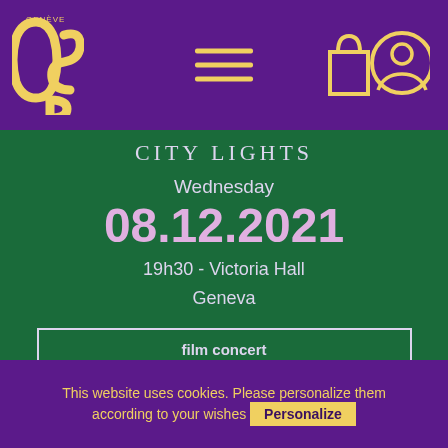[Figure (logo): OSR Genève logo in yellow on purple background, with hamburger menu icon and shopping bag and user profile icons]
CITY LIGHTS
Wednesday
08.12.2021
19h30 - Victoria Hall
Geneva
film concert
non-subscription concert
This website uses cookies. Please personalize them according to your wishes Personalize